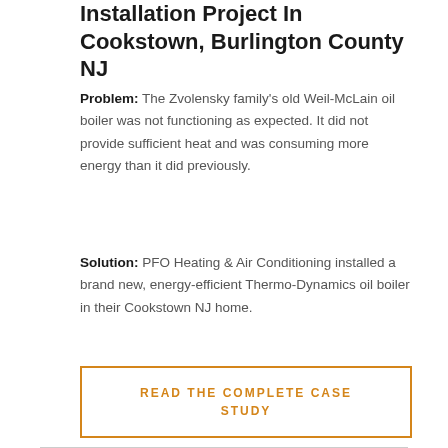Installation Project In Cookstown, Burlington County NJ
Problem: The Zvolensky family's old Weil-McLain oil boiler was not functioning as expected. It did not provide sufficient heat and was consuming more energy than it did previously.
Solution: PFO Heating & Air Conditioning installed a brand new, energy-efficient Thermo-Dynamics oil boiler in their Cookstown NJ home.
READ THE COMPLETE CASE STUDY